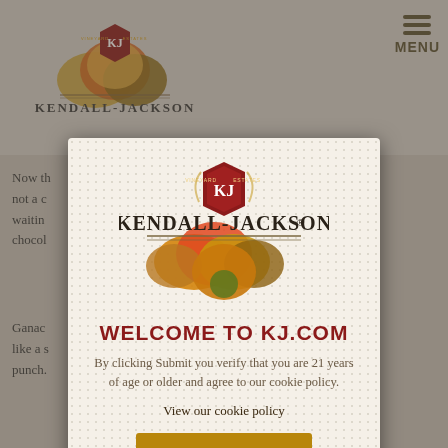[Figure (logo): Kendall-Jackson logo with vineyard leaves and KJ shield emblem in top-left of background page]
MENU
Now th... are not a ch... waiting... us chocola...
Ganac... heavy like a s... vorful punch.... e
[Figure (logo): Kendall-Jackson Vineyard Estates logo with autumn leaf motif and KJ shield in modal dialog]
WELCOME TO KJ.COM
By clicking Submit you verify that you are 21 years of age or older and agree to our cookie policy.
View our cookie policy
SUBMIT